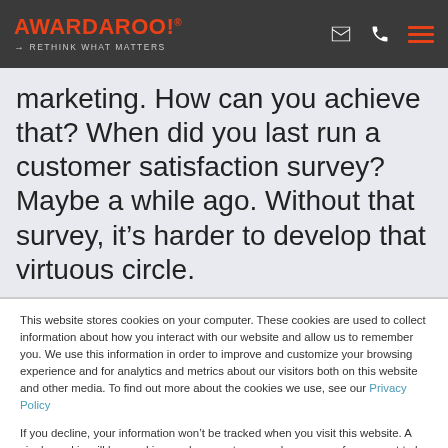AWARDAROO! RETHINK WHAT MATTERS
marketing. How can you achieve that? When did you last run a customer satisfaction survey? Maybe a while ago. Without that survey, it's harder to develop that virtuous circle.
This website stores cookies on your computer. These cookies are used to collect information about how you interact with our website and allow us to remember you. We use this information in order to improve and customize your browsing experience and for analytics and metrics about our visitors both on this website and other media. To find out more about the cookies we use, see our Privacy Policy
If you decline, your information won't be tracked when you visit this website. A single cookie will be used in your browser to remember your preference not to be tracked.
Accept | Decline